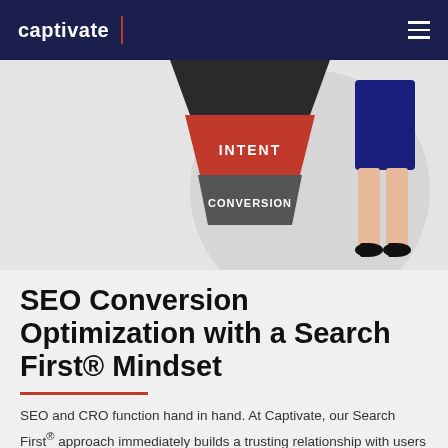captivate
[Figure (illustration): Marketing funnel illustration with stacked cylindrical segments labeled 'INTENT' (red) and 'CONVERSION' (dark gray), alongside a cartoon illustration of a woman's legs in a navy skirt and black heels, set against a light gray circular background.]
SEO Conversion Optimization with a Search First® Mindset
SEO and CRO function hand in hand. At Captivate, our Search First® approach immediately builds a trusting relationship with users so they can do t…